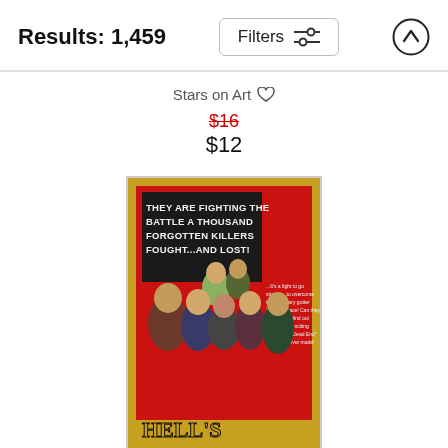Results: 1,459
Filters
Stars on Art
$16 (strikethrough) $12
[Figure (photo): Vintage movie poster for 'Hell's Kitchen' featuring text 'THEY ARE FIGHTING THE BATTLE A THOUSAND FORGOTTEN KILLERS FOUGHT... AND LOST!' on a red and black background with group of young men depicted]